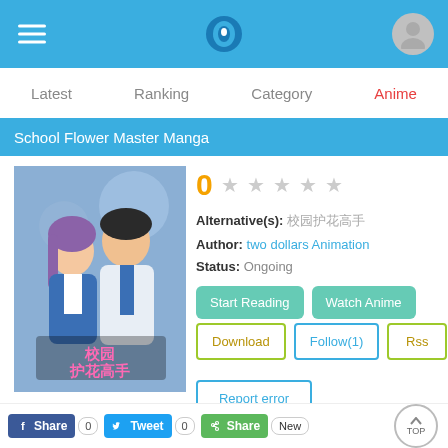School Flower Master Manga — Navigation: Latest, Ranking, Category, Anime
School Flower Master Manga
[Figure (illustration): Manga cover art showing two characters in school uniforms. A girl with purple hair and a boy in blue jacket. Chinese title text at bottom.]
0 (rating) ★★★★★ Alternative(s): 校园护花高手 Author: two dollars Animation Status: Ongoing
Start Reading | Watch Anime
Download | Follow(1) | Rss
Report error
Share 0 | Tweet 0 | Share New | TOP